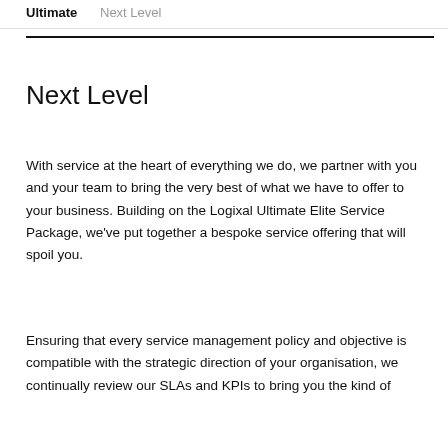Ultimate   Next Level
Next Level
With service at the heart of everything we do, we partner with you and your team to bring the very best of what we have to offer to your business. Building on the Logixal Ultimate Elite Service Package, we've put together a bespoke service offering that will spoil you.
Ensuring that every service management policy and objective is compatible with the strategic direction of your organisation, we continually review our SLAs and KPIs to bring you the kind of